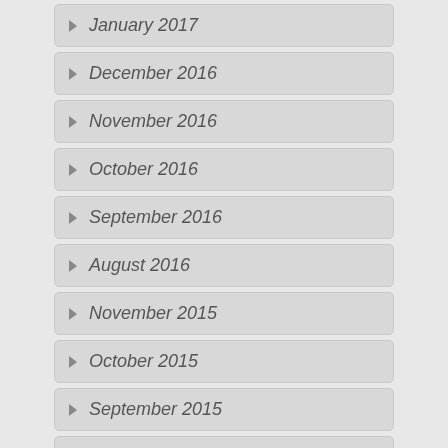January 2017
December 2016
November 2016
October 2016
September 2016
August 2016
November 2015
October 2015
September 2015
August 2015
July 2015